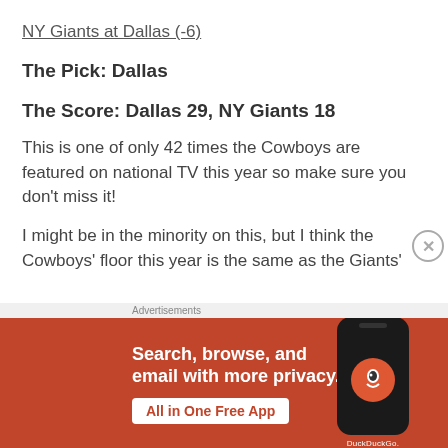NY Giants at Dallas (-6)
The Pick: Dallas
The Score: Dallas 29, NY Giants 18
This is one of only 42 times the Cowboys are featured on national TV this year so make sure you don't miss it!
I might be in the minority on this, but I think the Cowboys' floor this year is the same as the Giants' ceiling. And Dallas...
[Figure (infographic): DuckDuckGo advertisement banner with orange background, text 'Search, browse, and email with more privacy.' and 'All in One Free App' button, with a phone showing the DuckDuckGo logo.]